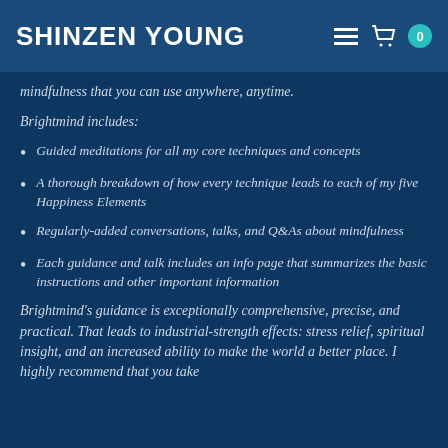SHINZEN YOUNG
mindfulness that you can use anywhere, anytime.
Brightmind includes:
Guided meditations for all my core techniques and concepts
A thorough breakdown of how every technique leads to each of my five Happiness Elements
Regularly-added conversations, talks, and Q&As about mindfulness
Each guidance and talk includes an info page that summarizes the basic instructions and other important information
Brightmind's guidance is exceptionally comprehensive, precise, and practical. That leads to industrial-strength effects: stress relief, spiritual insight, and an increased ability to make the world a better place. I highly recommend that you take